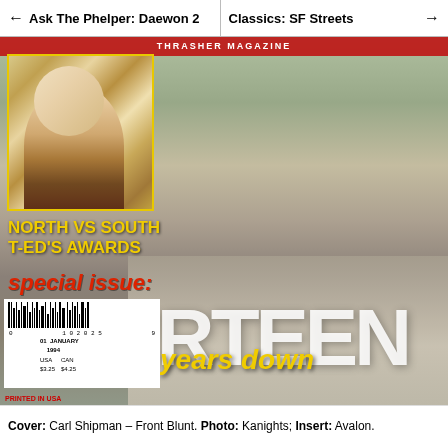← Ask The Phelper: Daewon 2    Classics: SF Streets →
[Figure (photo): Skateboarding magazine cover showing a skater performing a front blunt trick, with an inset photo of a woman. Text overlays include 'NORTH vs SOUTH', 'T-ED's AWARDS', 'special issue:', 'THIRTEEN', 'years down'. Barcode at bottom left reads January 1994 with USA price $3.25 and CAN $4.25. 'PRINTED IN USA' in red.]
Cover: Carl Shipman – Front Blunt. Photo: Kanights; Insert: Avalon.